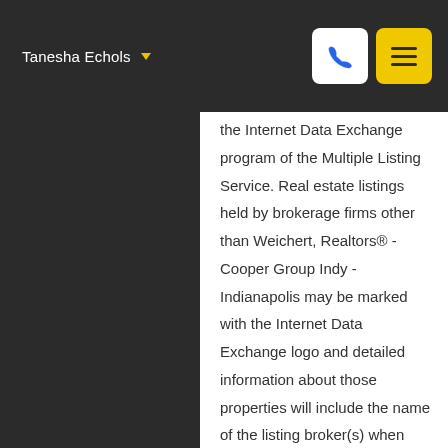Tanesha Echols
the Internet Data Exchange program of the Multiple Listing Service. Real estate listings held by brokerage firms other than Weichert, Realtors® - Cooper Group Indy - Indianapolis may be marked with the Internet Data Exchange logo and detailed information about those properties will include the name of the listing broker(s) when required by the MLS. Copyright ©2022 All rights reserved. Last